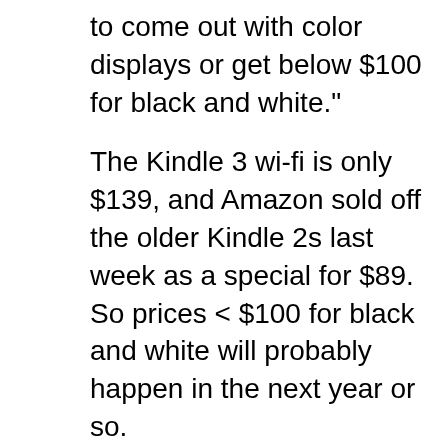to come out with color displays or get below $100 for black and white."
The Kindle 3 wi-fi is only $139, and Amazon sold off the older Kindle 2s last week as a special for $89. So prices < $100 for black and white will probably happen in the next year or so.
Unlike general-purpose tablets, there's less in an ebook reader to drive hardware upgrades and keep prices high. The CPU is pretty much fine for reading books. The